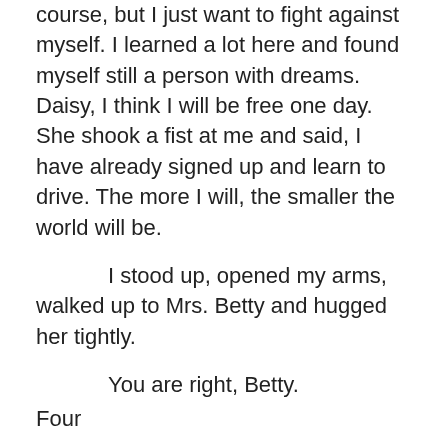course, but I just want to fight against myself. I learned a lot here and found myself still a person with dreams. Daisy, I think I will be free one day. She shook a fist at me and said, I have already signed up and learn to drive. The more I will, the smaller the world will be.
I stood up, opened my arms, walked up to Mrs. Betty and hugged her tightly.
You are right, Betty.
Four
After the epidemic, the center was closed for nearly a year and reopened.
The changes here are quite big, the foreign teachers have left a lot, and Miss Anne has also returned to the United States.
At the beginning, the coffee machine in the large classroom was withdrawn. After a few days, the coffee